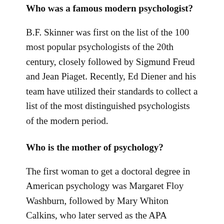Who was a famous modern psychologist?
B.F. Skinner was first on the list of the 100 most popular psychologists of the 20th century, closely followed by Sigmund Freud and Jean Piaget. Recently, Ed Diener and his team have utilized their standards to collect a list of the most distinguished psychologists of the modern period.
Who is the mother of psychology?
The first woman to get a doctoral degree in American psychology was Margaret Floy Washburn, followed by Mary Whiton Calkins, who later served as the APA President. Psychologically, Calkins also had to stay to...